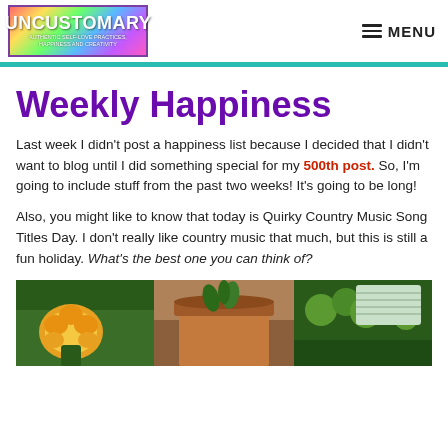UNCUSTOMARY — MENU
Weekly Happiness
Last week I didn't post a happiness list because I decided that I didn't want to blog until I did something special for my 500th post. So, I'm going to include stuff from the past two weeks! It's going to be long!
Also, you might like to know that today is Quirky Country Music Song Titles Day. I don't really like country music that much, but this is still a fun holiday. What's the best one you can think of?
[Figure (photo): Three potted plants including a yellow flowering cactus, a terracotta pot with a plant, and green leafy plants with a label/tag]